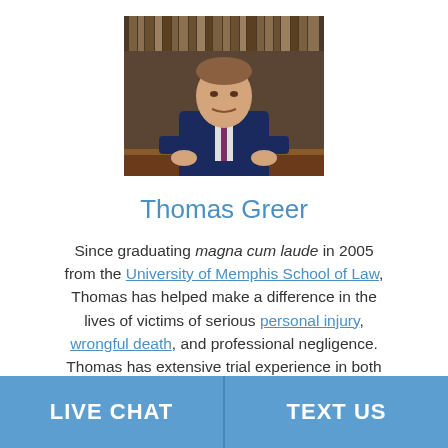[Figure (photo): Professional portrait photo of Thomas Greer in a dark blue suit with a tie, leaning forward on a wooden desk, with bookshelves in the background.]
Thomas Greer
Since graduating magna cum laude in 2005 from the University of Memphis School of Law, Thomas has helped make a difference in the lives of victims of serious personal injury, wrongful death, and professional negligence. Thomas has extensive trial experience in both state and federal court. Among other victories in the courtroom, Thomas obtained several impressive jury verdicts and settlements
LIVE CHAT   TEXT US